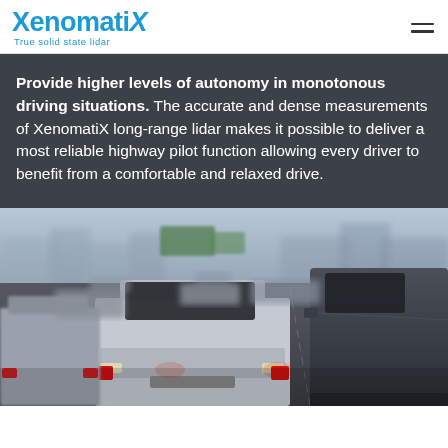XenomatiX — True solid state lidar
Provide higher levels of autonomy in monotonous driving situations. The accurate and dense measurements of XenomatiX long-range lidar makes it possible to deliver a most reliable highway pilot function allowing every driver to benefit from a comfortable and relaxed drive.
[Figure (photo): Traffic jam on a multi-lane highway, showing multiple cars with brake lights visible, shot from a low angle with an urban backdrop and hazy sky.]